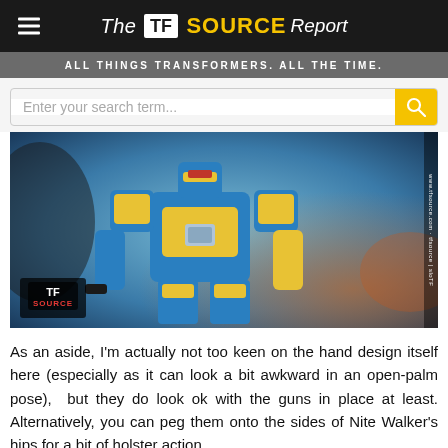The TF Source Report — ALL THINGS TRANSFORMERS. ALL THE TIME.
[Figure (photo): A blue and yellow Transformers action figure (Nite Walker) in robot mode, photographed close-up against a blurred background. A TF Source logo watermark appears in the bottom-left corner.]
As an aside, I'm actually not too keen on the hand design itself here (especially as it can look a bit awkward in an open-palm pose), but they do look ok with the guns in place at least. Alternatively, you can peg them onto the sides of Nite Walker's hips for a bit of holster action.